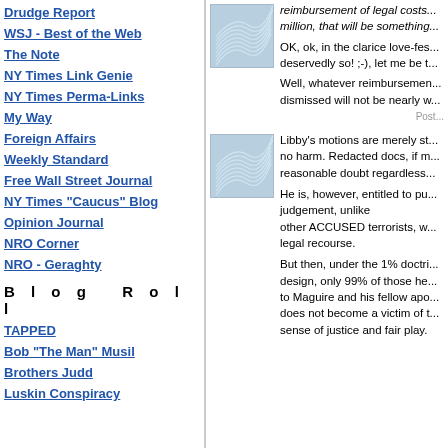Drudge Report
WSJ - Best of the Web
The Note
NY Times Link Genie
NY Times Perma-Links
My Way
Foreign Affairs
Weekly Standard
Free Wall Street Journal
NY Times "Caucus" Blog
Opinion Journal
NRO Corner
NRO - Geraghty
Blog Roll
TAPPED
Bob "The Man" Musil
Brothers Judd
Luskin Conspiracy
[Figure (illustration): Blue wavy lines illustration icon]
reimbursement of legal costs... million, that will be something...
OK, ok, in the clarice love-fest... deservedly so! ;-), let me be t...
Well, whatever reimbursement... dismissed will not be nearly w...
Post...
[Figure (illustration): Blue wavy lines illustration icon]
Libby's motions are merely st... no harm. Redacted docs, if m... reasonable doubt regardless...
He is, however, entitled to pu... judgement, unlike other ACCUSED terrorists, w... legal recourse.
But then, under the 1% doctri... design, only 99% of those he... to Maguire and his fellow apo... does not become a victim of t... sense of justice and fair play.